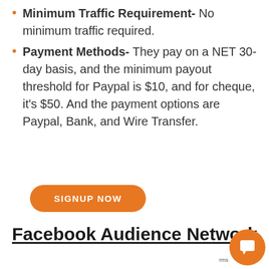Minimum Traffic Requirement- No minimum traffic required.
Payment Methods- They pay on a NET 30-day basis, and the minimum payout threshold for Paypal is $10, and for cheque, it's $50. And the payment options are Paypal, Bank, and Wire Transfer.
SIGNUP NOW
Facebook Audience Network